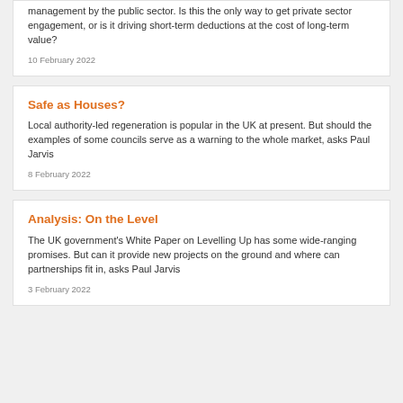management by the public sector. Is this the only way to get private sector engagement, or is it driving short-term deductions at the cost of long-term value?
10 February 2022
Safe as Houses?
Local authority-led regeneration is popular in the UK at present. But should the examples of some councils serve as a warning to the whole market, asks Paul Jarvis
8 February 2022
Analysis: On the Level
The UK government's White Paper on Levelling Up has some wide-ranging promises. But can it provide new projects on the ground and where can partnerships fit in, asks Paul Jarvis
3 February 2022